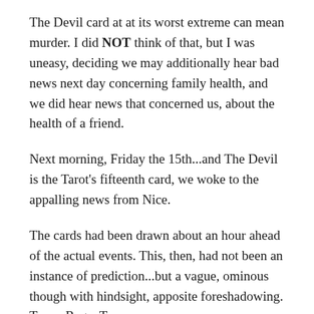The Devil card at at its worst extreme can mean murder. I did NOT think of that, but I was uneasy, deciding we may additionally hear bad news next day concerning family health, and we did hear news that concerned us, about the health of a friend.
Next morning, Friday the 15th...and The Devil is the Tarot's fifteenth card, we woke to the appalling news from Nice.
The cards had been drawn about an hour ahead of the actual events. This, then, had not been an instance of prediction...but a vague, ominous though with hindsight, apposite foreshadowing. Tyres. Rage. Terror.